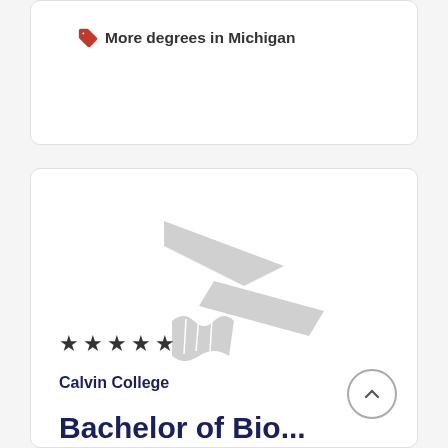More degrees in Michigan
[Figure (logo): Calvin College placeholder logo — a gray stylized arrow/book mark symbol on white background]
★★★★★
Calvin College
Bachelor of Bio...